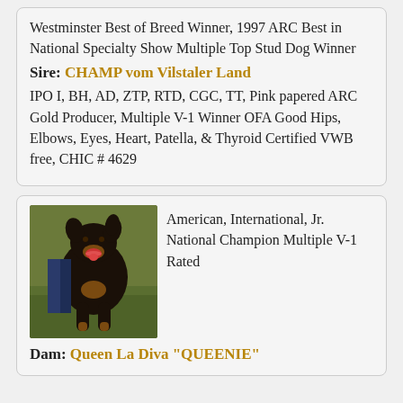Westminster Best of Breed Winner, 1997 ARC Best in National Specialty Show Multiple Top Stud Dog Winner
Sire: CHAMP vom Vilstaler Land
IPO I, BH, AD, ZTP, RTD, CGC, TT, Pink papered ARC Gold Producer, Multiple V-1 Winner OFA Good Hips, Elbows, Eyes, Heart, Patella, & Thyroid Certified VWB free, CHIC # 4629
[Figure (photo): Black and tan Rottweiler dog standing on grass, facing slightly right, mouth open]
American, International, Jr. National Champion Multiple V-1 Rated
Dam: Queen La Diva "QUEENIE"